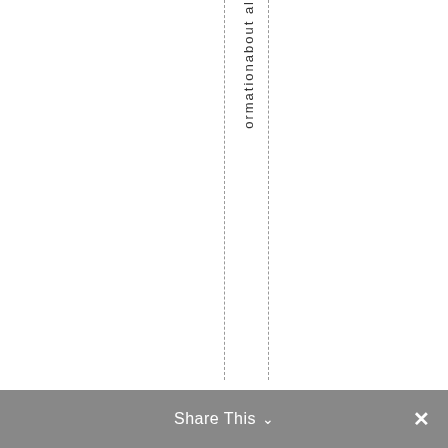ormationabout al
Share This ∨  ×